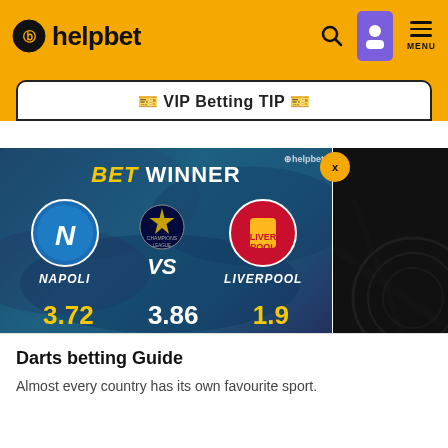helpbet | MENU
🎫 VIP Betting TIP 🎫
[Figure (infographic): BetWinner sports betting card showing Napoli vs Liverpool Champions League match with odds 3.72, 3.86, 1.9 and a PLACE BET button]
Darts betting Guide
Almost every country has its own favourite sport.